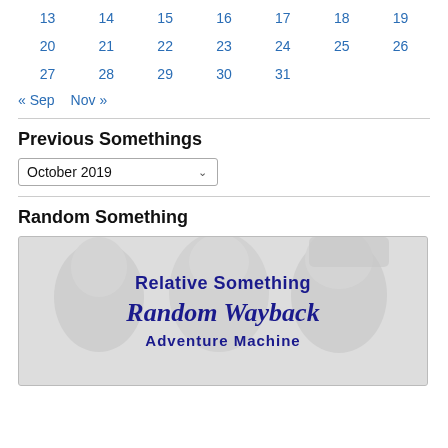| 13 | 14 | 15 | 16 | 17 | 18 | 19 |
| 20 | 21 | 22 | 23 | 24 | 25 | 26 |
| 27 | 28 | 29 | 30 | 31 |  |  |
« Sep   Nov »
Previous Somethings
October 2019 (dropdown)
Random Something
[Figure (illustration): Blog logo image showing family faces in background with text 'Relative Something Random Wayback Adventure Machine']